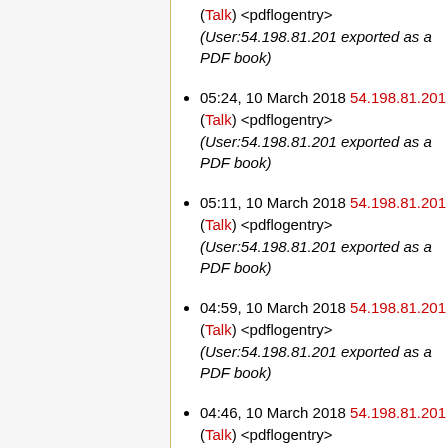05:36, 10 March 2018 54.198.81.201 (Talk) <pdflogentry> (User:54.198.81.201 exported as a PDF book)
05:24, 10 March 2018 54.198.81.201 (Talk) <pdflogentry> (User:54.198.81.201 exported as a PDF book)
05:11, 10 March 2018 54.198.81.201 (Talk) <pdflogentry> (User:54.198.81.201 exported as a PDF book)
04:59, 10 March 2018 54.198.81.201 (Talk) <pdflogentry> (User:54.198.81.201 exported as a PDF book)
04:46, 10 March 2018 54.198.81.201 (Talk) <pdflogentry> (User:54.198.81.201 exported as a PDF book)